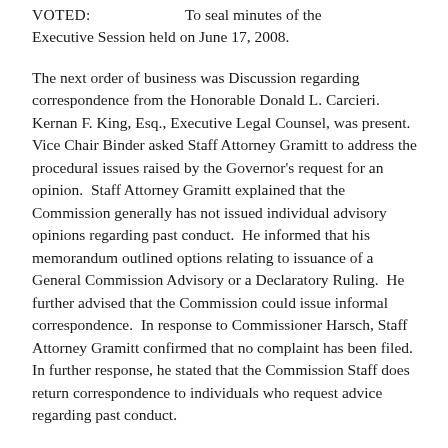VOTED:      To seal minutes of the Executive Session held on June 17, 2008.
The next order of business was Discussion regarding correspondence from the Honorable Donald L. Carcieri.  Kernan F. King, Esq., Executive Legal Counsel, was present.  Vice Chair Binder asked Staff Attorney Gramitt to address the procedural issues raised by the Governor's request for an opinion.  Staff Attorney Gramitt explained that the Commission generally has not issued individual advisory opinions regarding past conduct.  He informed that his memorandum outlined options relating to issuance of a General Commission Advisory or a Declaratory Ruling.  He further advised that the Commission could issue informal correspondence.  In response to Commissioner Harsch, Staff Attorney Gramitt confirmed that no complaint has been filed.  In further response, he stated that the Commission Staff does return correspondence to individuals who request advice regarding past conduct.